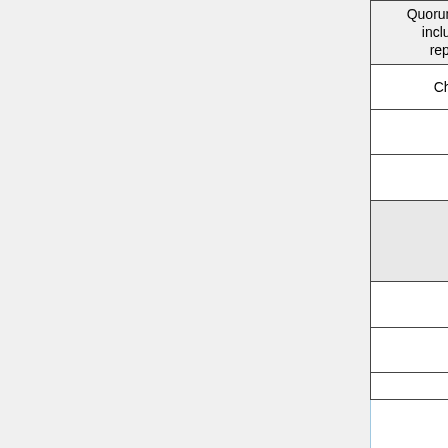| Quorum = chair + 5 including 2 SD represented | yes/no | Chair/CTO | ArB | International Affiliate Rep | Ad-H... |
| --- | --- | --- | --- | --- | --- |
|  |  | Ken McCaslin | Tony Julian | Jean Duteau |  |
|  |  | John Quinn | Lorraine Constable | Giorgio Cangioli |  |
| Domain Experts | Foundation and Technology | Structure and Semantic Design | Tech... Su... Ser... |  |  |
|  |  | Melva Peters | Woody Beeler | Calvin Beebe | Fre... Hal... |
|  |  | John Roberts | Paul Knapp | Pat van Dyke | And... Ste... |
|  |  |  | Russ |  |  |